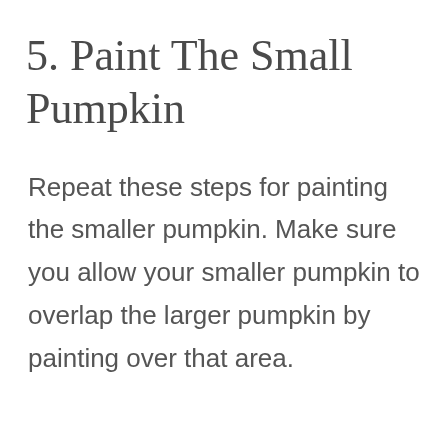5. Paint The Small Pumpkin
Repeat these steps for painting the smaller pumpkin. Make sure you allow your smaller pumpkin to overlap the larger pumpkin by painting over that area.